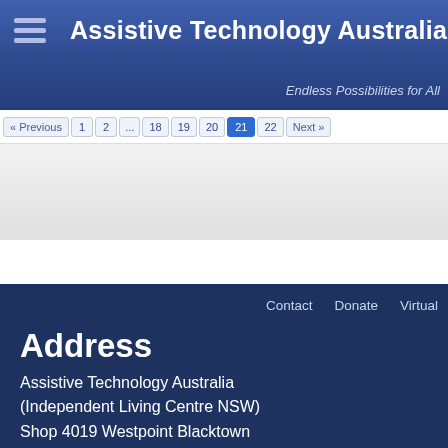Assistive Technology Australia™ — Endless Possibilities for All
« Previous  1  2  ...  18  19  20  21  22  Next »
Contact   Donate   Virtual
Address
Assistive Technology Australia (Independent Living Centre NSW) Shop 4019 Westpoint Blacktown 17 Patrick Street Blacktown NSW 2148 Australia